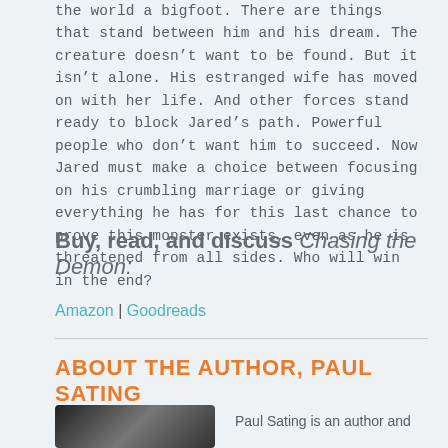the world a bigfoot. There are things that stand between him and his dream. The creature doesn't want to be found. But it isn't alone. His estranged wife has moved on with her life. And other forces stand ready to block Jared's path. Powerful people who don't want him to succeed. Now Jared must make a choice between focusing on his crumbling marriage or giving everything he has for this last chance to prove this monster exists, even as he is threatened from all sides. Who will win in the end?
Buy, read, and discuss Chasing the Demon:
Amazon | Goodreads
ABOUT THE AUTHOR, PAUL SATING
[Figure (photo): Black and white photo of Paul Sating]
Paul Sating is an author and